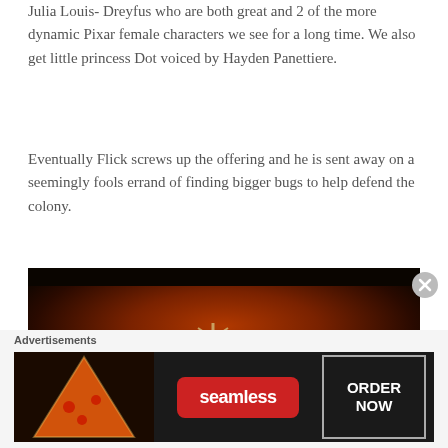Julia Louis-Dreyfus who are both great and 2 of the more dynamic Pixar female characters we see for a long time. We also get little princess Dot voiced by Hayden Panettiere.
Eventually Flick screws up the offering and he is sent away on a seemingly fools errand of finding bigger bugs to help defend the colony.
[Figure (photo): Movie still from A Bug's Life showing a group of animated bug characters including a spider, beetle, grasshopper, and other insects grouped together against a warm reddish-brown background.]
Advertisements
[Figure (photo): Seamless food delivery advertisement banner with pizza image on left, Seamless logo in red pill shape in center, and ORDER NOW button on right, all on dark background.]